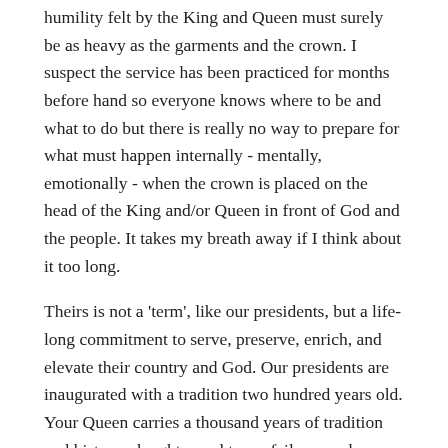humility felt by the King and Queen must surely be as heavy as the garments and the crown. I suspect the service has been practiced for months before hand so everyone knows where to be and what to do but there is really no way to prepare for what must happen internally - mentally, emotionally - when the crown is placed on the head of the King and/or Queen in front of God and the people. It takes my breath away if I think about it too long.
Theirs is not a 'term', like our presidents, but a life-long commitment to serve, preserve, enrich, and elevate their country and God. Our presidents are inaugurated with a tradition two hundred years old. Your Queen carries a thousand years of tradition and history - laughter and tears; failures and successes; great wrongs and soaring rights. She is you - your fierce love of country and fairness in life; she carries and mirrors your joys and your sadness; she is your quick wit and gentle hearts.
There will always be an England.
God save the Queen.
5 ^ | v